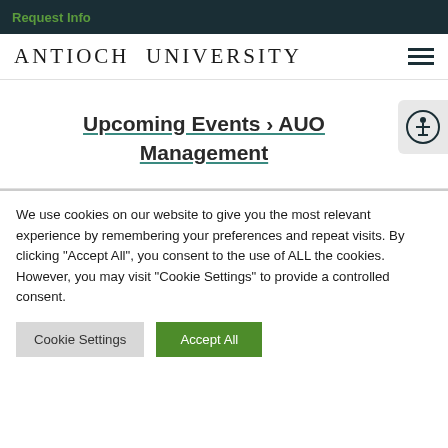Request Info
[Figure (logo): Antioch University logo with hamburger menu icon]
Upcoming Events › AUO Management
[Figure (other): Accessibility icon button (person in circle)]
We use cookies on our website to give you the most relevant experience by remembering your preferences and repeat visits. By clicking "Accept All", you consent to the use of ALL the cookies. However, you may visit "Cookie Settings" to provide a controlled consent.
Cookie Settings | Accept All